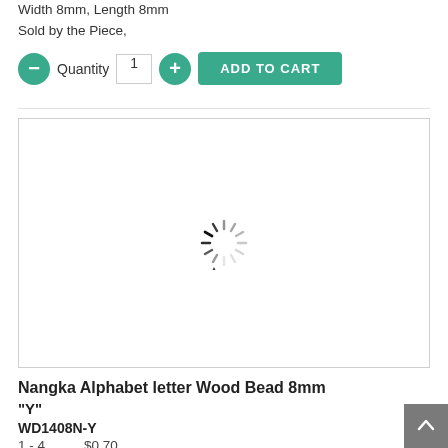Width 8mm, Length 8mm
Sold by the Piece,
- Quantity 1 + ADD TO CART
[Figure (screenshot): Loading spinner (circular dashed progress indicator) inside a bordered white box]
Nangka Alphabet letter Wood Bead 8mm "Y"
WD1408N-Y
1 - 4    $0.70
5 - 9    $0.63
10+     $0.57
Material(s): Nangka wood
Width 8mm, Length 8mm